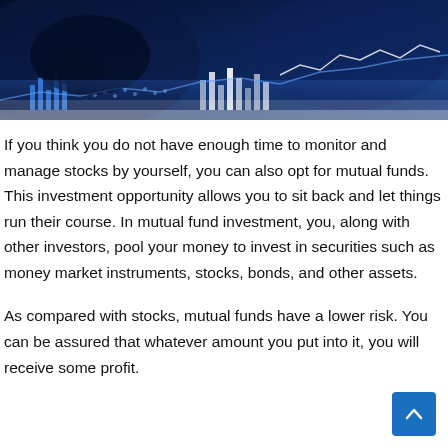[Figure (photo): Dark blue financial background image showing hands with glowing financial data, stock chart lines, and bar chart elements in a dark blue/teal color scheme.]
If you think you do not have enough time to monitor and manage stocks by yourself, you can also opt for mutual funds. This investment opportunity allows you to sit back and let things run their course. In mutual fund investment, you, along with other investors, pool your money to invest in securities such as money market instruments, stocks, bonds, and other assets.
As compared with stocks, mutual funds have a lower risk. You can be assured that whatever amount you put into it, you will receive some profit.